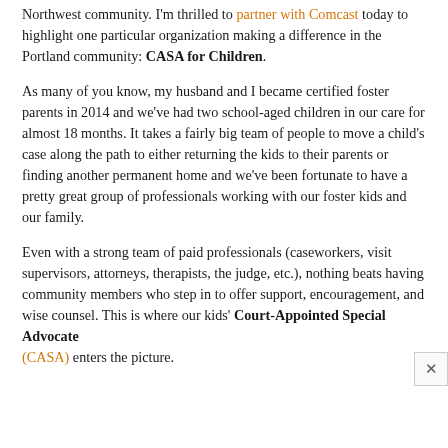Northwest community. I'm thrilled to partner with Comcast today to highlight one particular organization making a difference in the Portland community: CASA for Children.
As many of you know, my husband and I became certified foster parents in 2014 and we've had two school-aged children in our care for almost 18 months. It takes a fairly big team of people to move a child's case along the path to either returning the kids to their parents or finding another permanent home and we've been fortunate to have a pretty great group of professionals working with our foster kids and our family.
Even with a strong team of paid professionals (caseworkers, visit supervisors, attorneys, therapists, the judge, etc.), nothing beats having community members who step in to offer support, encouragement, and wise counsel. This is where our kids' Court-Appointed Special Advocate (CASA) enters the picture.